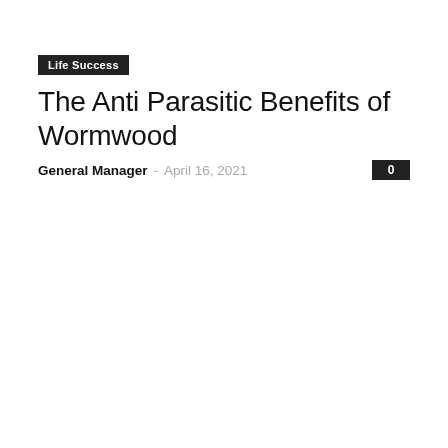Life Success
The Anti Parasitic Benefits of Wormwood
General Manager – April 16, 2021   0
Life Success
The Best Online Casino Strategies You Need To Know